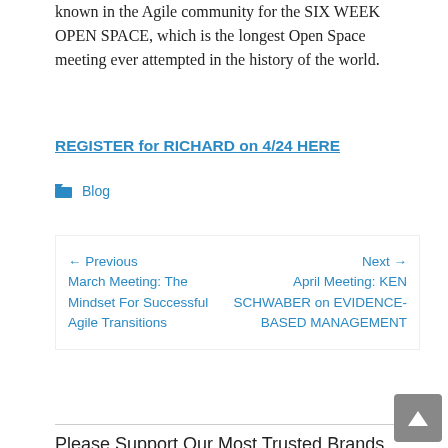known in the Agile community for the SIX WEEK OPEN SPACE, which is the longest Open Space meeting ever attempted in the history of the world.
REGISTER for RICHARD on 4/24 HERE
Blog
← Previous March Meeting: The Mindset For Successful Agile Transitions
Next → April Meeting: KEN SCHWABER on EVIDENCE-BASED MANAGEMENT
Please Support Our Most Trusted Brands
[Figure (logo): ImprovingAgility logo - Business Agility Training Coaching Staffing]
[Figure (logo): Scrumindo logo - the way teams work]